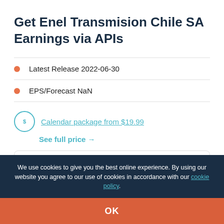Get Enel Transmision Chile SA Earnings via APIs
Latest Release 2022-06-30
EPS/Forecast NaN
Calendar package from $19.99
See full price →
Get sample earnings calendar API
We use cookies to give you the best online experience. By using our website you agree to our use of cookies in accordance with our cookie policy.
OK